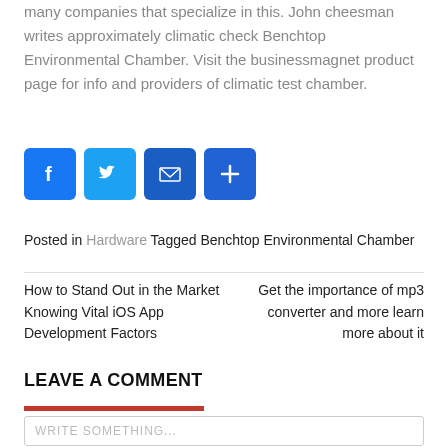many companies that specialize in this. John cheesman writes approximately climatic check Benchtop Environmental Chamber. Visit the businessmagnet product page for info and providers of climatic test chamber.
[Figure (infographic): Row of four social share buttons: Facebook (blue, f icon), Twitter (light blue, bird icon), Email (dark blue, envelope icon), Share/Plus (blue, plus icon)]
Posted in Hardware Tagged Benchtop Environmental Chamber
How to Stand Out in the Market Knowing Vital iOS App Development Factors
Get the importance of mp3 converter and more learn more about it
LEAVE A COMMENT
WRITE SOMETHING...